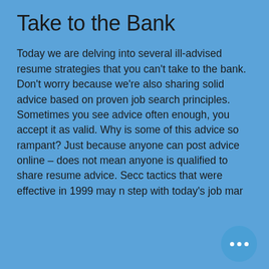Take to the Bank
Today we are delving into several ill-advised resume strategies that you can't take to the bank. Don't worry because we're also sharing solid advice based on proven job search principles. Sometimes you see advice often enough, you accept it as valid. Why is some of this advice so rampant? Just because anyone can post advice online – does not mean anyone is qualified to share resume advice. Secc tactics that were effective in 1999 may n step with today's job mar
[Figure (screenshot): Hamburger menu button icon — dark square with three white horizontal bars]
[Figure (photo): Close-up photo of brown/tan wooden surface with an illuminated upward-arrow button, warm brown tones]